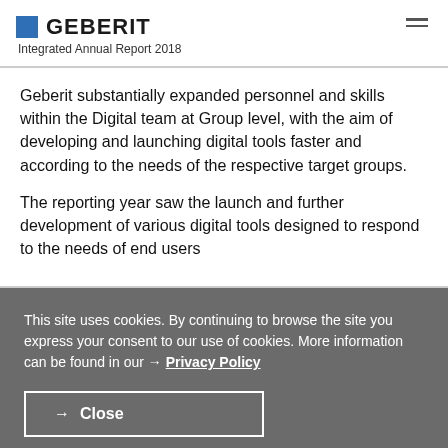GEBERIT Integrated Annual Report 2018
Geberit substantially expanded personnel and skills within the Digital team at Group level, with the aim of developing and launching digital tools faster and according to the needs of the respective target groups.
The reporting year saw the launch and further development of various digital tools designed to respond to the needs of end users
This site uses cookies. By continuing to browse the site you express your consent to our use of cookies. More information can be found in our → Privacy Policy
→ Close